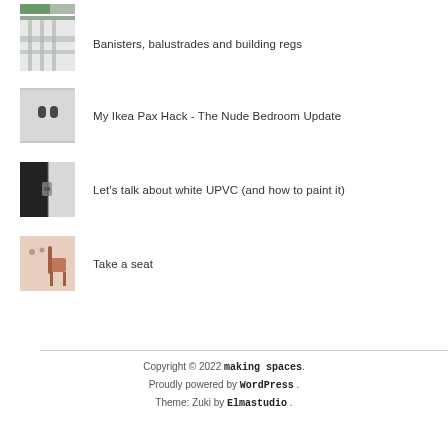[Figure (photo): Partial thumbnail of a green/plant image at top]
Banisters, balustrades and building regs
My Ikea Pax Hack - The Nude Bedroom Update
Let's talk about white UPVC (and how to paint it)
Take a seat
Copyright © 2022 making spaces. Proudly powered by WordPress . Theme: Zuki by Elmastudio .